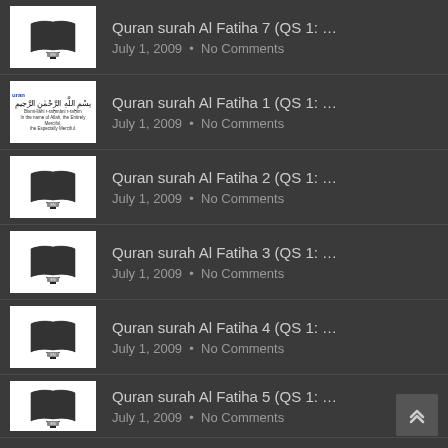Quran surah Al Fatiha 7 (QS 1: ...
July 1, 2009 • No Comments
Quran surah Al Fatiha 1 (QS 1: ...
July 1, 2009 • No Comments
Quran surah Al Fatiha 2 (QS 1: ...
July 1, 2009 • No Comments
Quran surah Al Fatiha 3 (QS 1: ...
July 1, 2009 • No Comments
Quran surah Al Fatiha 4 (QS 1: ...
July 1, 2009 • No Comments
Quran surah Al Fatiha 5 (QS 1: ...
July 1, 2009 • No Comments